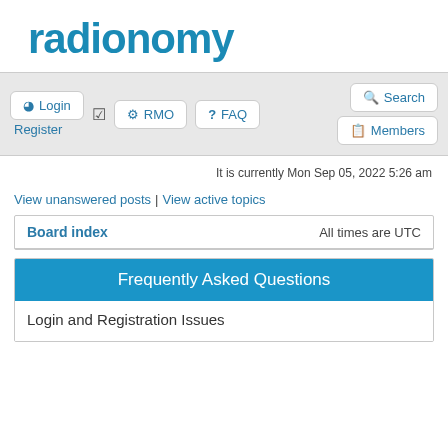[Figure (logo): Radionomy logo — blue bold lowercase text 'radionomy']
Login | Register | RMO | FAQ | Search | Members
It is currently Mon Sep 05, 2022 5:26 am
View unanswered posts | View active topics
Board index                    All times are UTC
Frequently Asked Questions
Login and Registration Issues